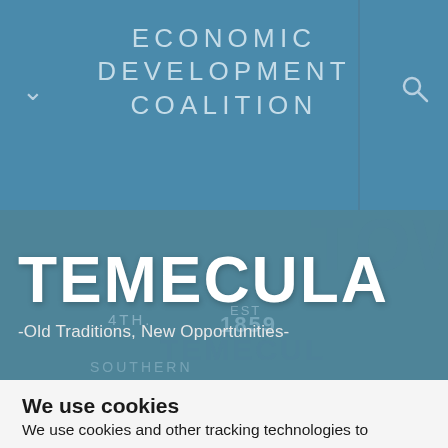ECONOMIC DEVELOPMENT COALITION
[Figure (photo): Hero image of Temecula Old Town sign with teal overlay. Large bold white text 'TEMECULA' and subtitle '-Old Traditions, New Opportunities-'. Background shows Old Town sign with '4TH. EST 1859 TEMECULA SOUTHERN'.]
We use cookies
We use cookies and other tracking technologies to improve your browsing experience on our website, to show you personalized content and targeted ads, to analyze our website traffic, and to